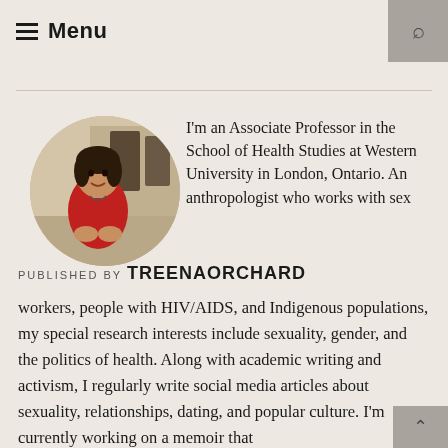Menu
[Figure (photo): Circular profile photo of a woman wearing a red top, standing indoors]
PUBLISHED BY TREENAORCHARD
I'm an Associate Professor in the School of Health Studies at Western University in London, Ontario. An anthropologist who works with sex workers, people with HIV/AIDS, and Indigenous populations, my special research interests include sexuality, gender, and the politics of health. Along with academic writing and activism, I regularly write social media articles about sexuality, relationships, dating, and popular culture. I'm currently working on a memoir that